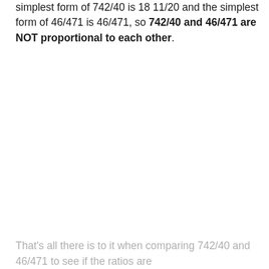simplest form of 742/40 is 18 11/20 and the simplest form of 46/471 is 46/471, so 742/40 and 46/471 are NOT proportional to each other.
That's all there is to it when comparing 742/40 and 46/471 to see if the ratios are